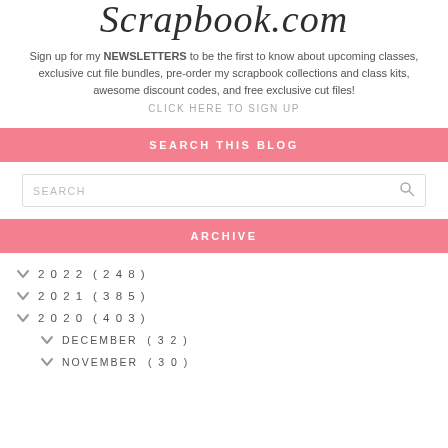Scrapbook.com
Sign up for my NEWSLETTERS to be the first to know about upcoming classes, exclusive cut file bundles, pre-order my scrapbook collections and class kits, awesome discount codes, and free exclusive cut files!
CLICK HERE TO SIGN UP
SEARCH THIS BLOG
SEARCH
ARCHIVE
2022 (248)
2021 (385)
2020 (403)
DECEMBER (32)
NOVEMBER (30)